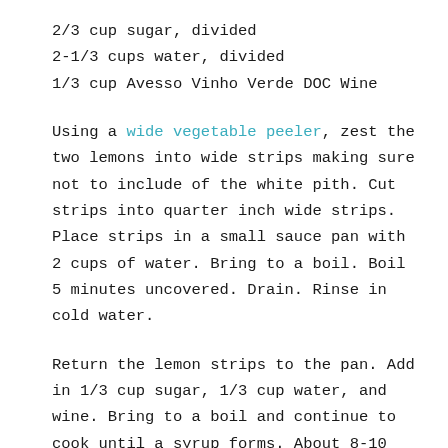2/3 cup sugar, divided
2-1/3 cups water, divided
1/3 cup Avesso Vinho Verde DOC Wine
Using a wide vegetable peeler, zest the two lemons into wide strips making sure not to include of the white pith. Cut strips into quarter inch wide strips. Place strips in a small sauce pan with 2 cups of water. Bring to a boil. Boil 5 minutes uncovered. Drain. Rinse in cold water.
Return the lemon strips to the pan. Add in 1/3 cup sugar, 1/3 cup water, and wine. Bring to a boil and continue to cook until a syrup forms. About 8-10 minutes. Turn to a simmer and simmer 5 minutes until peels are translucent. Remove from heat. Pour